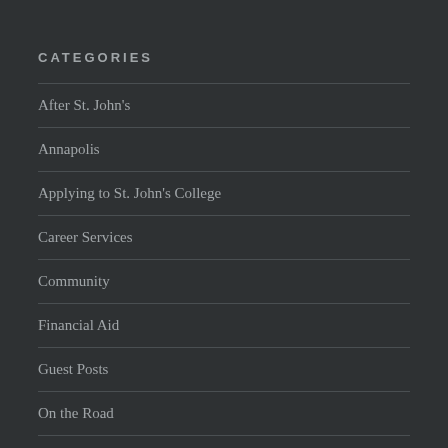CATEGORIES
After St. John's
Annapolis
Applying to St. John's College
Career Services
Community
Financial Aid
Guest Posts
On the Road
Santa Fe